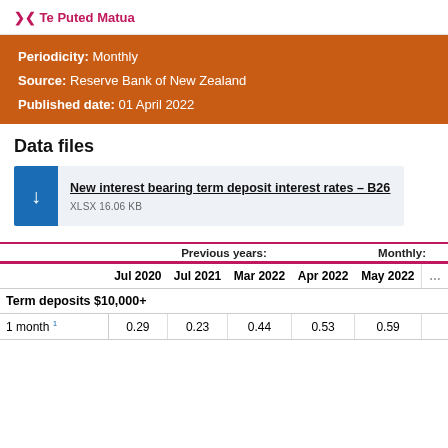Te Puted Matua
Periodicity: Monthly
Source: Reserve Bank of New Zealand
Published date: 01 April 2022
Data files
New interest bearing term deposit interest rates – B26
XLSX 16.06 KB
|  | Jul 2020 | Jul 2021 | Mar 2022 | Apr 2022 | May 2022 |
| --- | --- | --- | --- | --- | --- |
| Term deposits $10,000+ |  |  |  |  |  |
| 1 month 1 | 0.29 | 0.23 | 0.44 | 0.53 | 0.59 |